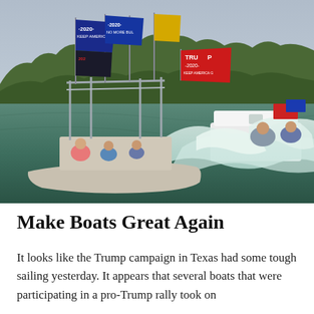[Figure (photo): Boats on a lake carrying multiple Trump 2020 / Keep America Great flags (blue, red, yellow) with waves in the water; treeline and overcast sky in background. People visible on the boats.]
Make Boats Great Again
It looks like the Trump campaign in Texas had some tough sailing yesterday. It appears that several boats that were participating in a pro-Trump rally took on